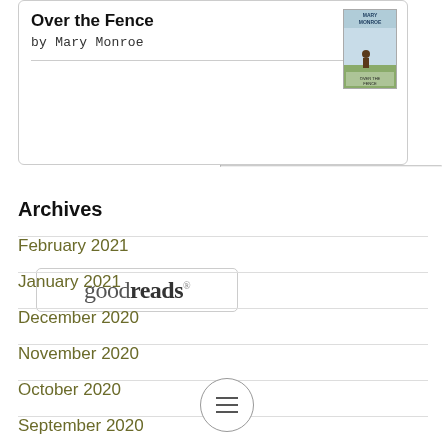[Figure (screenshot): Goodreads widget showing book 'Over the Fence' by Mary Monroe with book cover thumbnail]
Over the Fence
by Mary Monroe
[Figure (logo): Goodreads logo badge]
Archives
February 2021
January 2021
December 2020
November 2020
October 2020
September 2020
[Figure (other): Hamburger menu button circle icon]